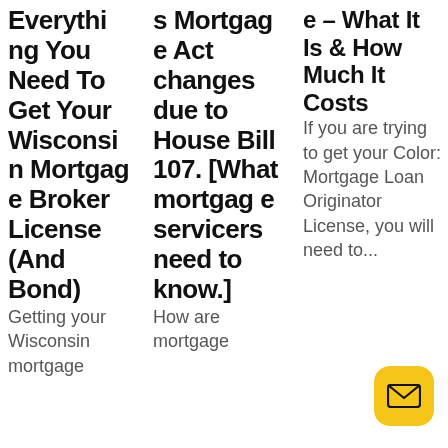Everything You Need To Get Your Wisconsin Mortgage Broker License (And Bond)
Getting your Wisconsin mortgage
s Mortgage Act changes due to House Bill 107. [What mortgage servicers need to know.]
How are mortgage
e – What It Is & How Much It Costs
If you are trying to get your Colorado Mortgage Loan Originator License, you will need to...